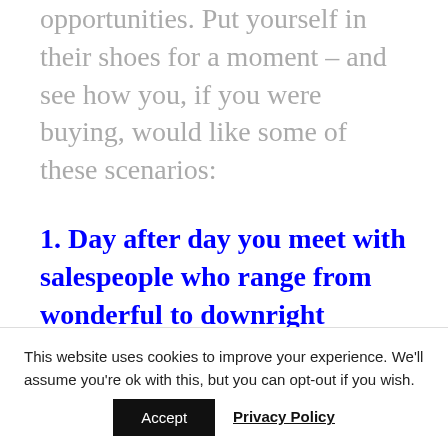opportunities. Put yourself in their shoes for a moment – and see how you, if you were buying, would like some of these scenarios:
1. Day after day you meet with salespeople who range from wonderful to downright obnoxious.
This website uses cookies to improve your experience. We'll assume you're ok with this, but you can opt-out if you wish.
Accept  Privacy Policy